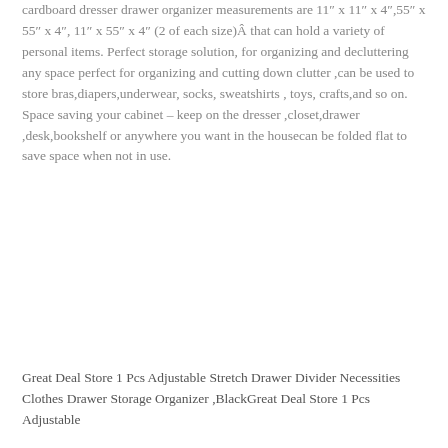cardboard dresser drawer organizer measurements are 11″ x 11″ x 4″,55″ x 55″ x 4″, 11″ x 55″ x 4″ (2 of each size)Â that can hold a variety of personal items. Perfect storage solution, for organizing and decluttering any space perfect for organizing and cutting down clutter ,can be used to store bras,diapers,underwear, socks, sweatshirts , toys, crafts,and so on. Space saving your cabinet – keep on the dresser ,closet,drawer ,desk,bookshelf or anywhere you want in the housecan be folded flat to save space when not in use.
Great Deal Store 1 Pcs Adjustable Stretch Drawer Divider Necessities Clothes Drawer Storage Organizer ,BlackGreat Deal Store 1 Pcs Adjustable